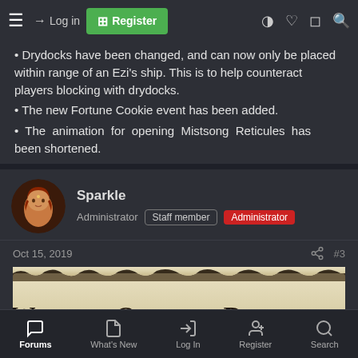≡  → Log in  ⊞ Register
• Drydocks have been changed, and can now only be placed within range of an Ezi's ship. This is to help counteract players blocking with drydocks.
• The new Fortune Cookie event has been added.
• The animation for opening Mistsong Reticules has been shortened.
Last edited: Oct 15, 2019
[Figure (photo): User avatar photo of Sparkle - a illustrated portrait of a woman with red/auburn hair]
Sparkle
Administrator  Staff member  Administrator
Oct 15, 2019  #3
[Figure (illustration): Scroll banner image with text 'WORLD, QUESTS, DUNGEONS' on a parchment/scroll style background]
Forums  What's New  Log In  Register  Search